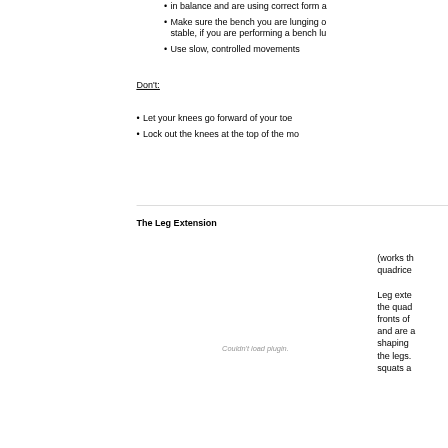in balance and are using correct form a
Make sure the bench you are lunging o stable, if you are performing a bench lu
Use slow, controlled movements
Don't:
Let your knees go forward of your toe
Lock out the knees at the top of the mo
The Leg Extension
[Figure (other): Plugin placeholder area showing 'Couldn't load plugin.' message]
(works th quadrice Leg exte the quad fronts of and are a shaping the legs. squats a